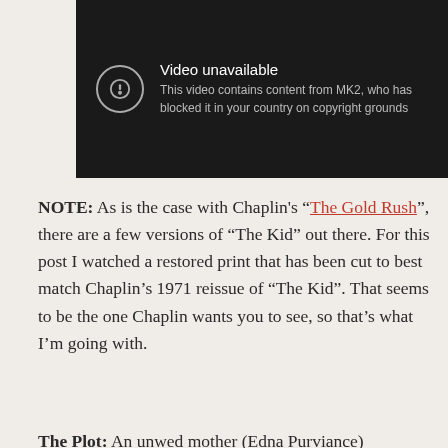[Figure (screenshot): YouTube video embed showing 'Video unavailable' error message. Dark background with exclamation icon, text reads 'Video unavailable - This video contains content from MK2, who has blocked it in your country on copyright grounds'. YouTube logo button in bottom right corner.]
NOTE: As is the case with Chaplin's "The Gold Rush", there are a few versions of "The Kid" out there. For this post I watched a restored print that has been cut to best match Chaplin's 1971 reissue of "The Kid". That seems to be the one Chaplin wants you to see, so that's what I'm going with.
The Plot: An unwed mother (Edna Purviance)